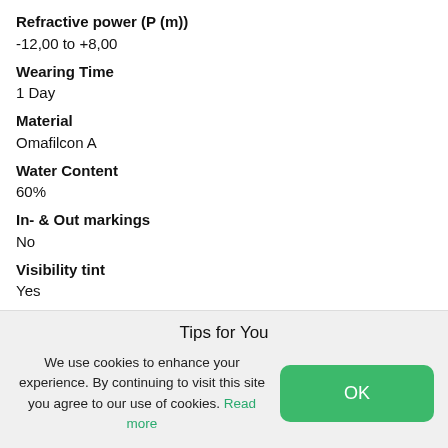Refractive power (P (m))
-12,00 to +8,00
Wearing Time
1 Day
Material
Omafilcon A
Water Content
60%
In- & Out markings
No
Visibility tint
Yes
Article nr
LPC2
Tips for You
We use cookies to enhance your experience. By continuing to visit this site you agree to our use of cookies. Read more